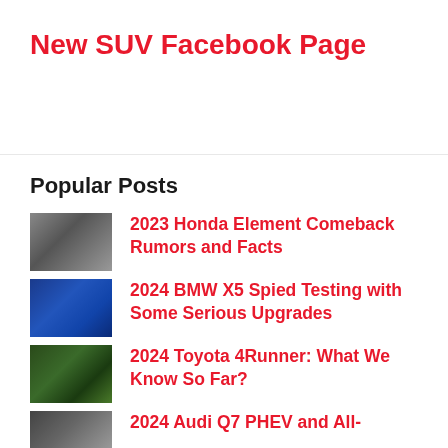New SUV Facebook Page
Popular Posts
2023 Honda Element Comeback Rumors and Facts
2024 BMW X5 Spied Testing with Some Serious Upgrades
2024 Toyota 4Runner: What We Know So Far?
2024 Audi Q7 PHEV and All-